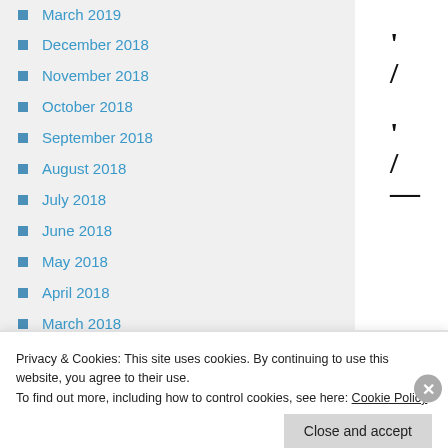March 2019
December 2018
November 2018
October 2018
September 2018
August 2018
July 2018
June 2018
May 2018
April 2018
March 2018
February 2018
January 2018
December 2017
Privacy & Cookies: This site uses cookies. By continuing to use this website, you agree to their use.
To find out more, including how to control cookies, see here: Cookie Policy
Close and accept